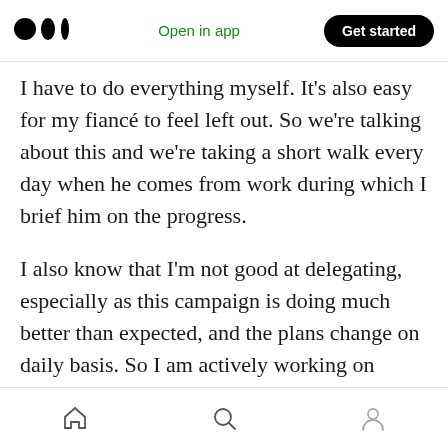Medium app header with logo, Open in app link, and Get started button
I have to do everything myself. It's also easy for my fiancé to feel left out. So we're talking about this and we're taking a short walk every day when he comes from work during which I brief him on the progress.
I also know that I'm not good at delegating, especially as this campaign is doing much better than expected, and the plans change on daily basis. So I am actively working on improving it, and I try to pay attention to how I and my actions are affecting other people. I am very lucky to be working with people who are really honest about
Bottom navigation bar with home, search, and profile icons